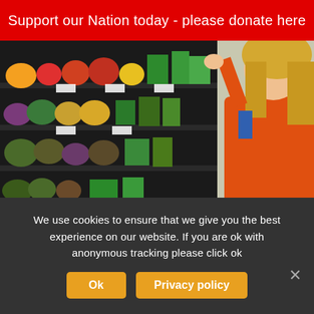Support our Nation today - please donate here
[Figure (photo): Woman in orange jacket reaching toward shelves in a grocery store produce section, filled with colorful vegetables and fruits]
Doctor Kellyann Says Weight Loss After 60 Comes Down to This
Dr. Kellyann | Sponsored
We use cookies to ensure that we give you the best experience on our website. If you are ok with anonymous tracking please click ok